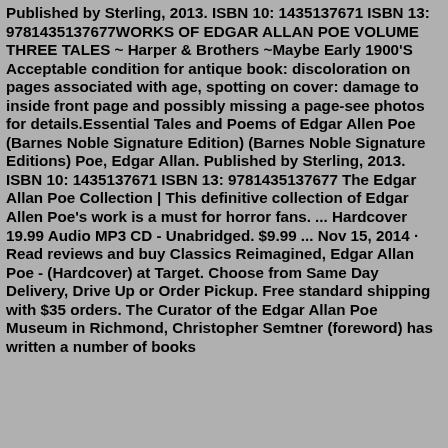Published by Sterling, 2013. ISBN 10: 1435137671 ISBN 13: 9781435137677WORKS OF EDGAR ALLAN POE VOLUME THREE TALES ~ Harper & Brothers ~Maybe Early 1900'S Acceptable condition for antique book: discoloration on pages associated with age, spotting on cover: damage to inside front page and possibly missing a page-see photos for details.Essential Tales and Poems of Edgar Allen Poe (Barnes Noble Signature Edition) (Barnes Noble Signature Editions) Poe, Edgar Allan. Published by Sterling, 2013. ISBN 10: 1435137671 ISBN 13: 9781435137677 The Edgar Allan Poe Collection | This definitive collection of Edgar Allen Poe's work is a must for horror fans. ... Hardcover 19.99 Audio MP3 CD - Unabridged. $9.99 ... Nov 15, 2014 · Read reviews and buy Classics Reimagined, Edgar Allan Poe - (Hardcover) at Target. Choose from Same Day Delivery, Drive Up or Order Pickup. Free standard shipping with $35 orders. The Curator of the Edgar Allan Poe Museum in Richmond, Christopher Semtner (foreword) has written a number of books